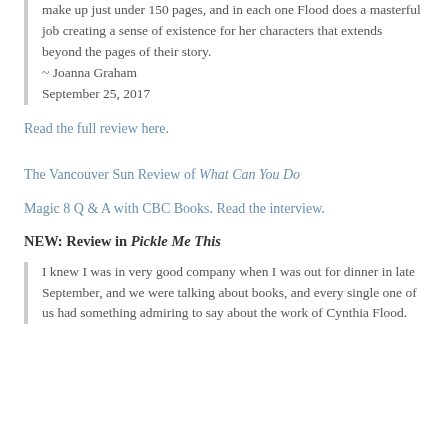make up just under 150 pages, and in each one Flood does a masterful job creating a sense of existence for her characters that extends beyond the pages of their story.
~ Joanna Graham
September 25, 2017
Read the full review here.
The Vancouver Sun Review of What Can You Do
Magic 8 Q & A with CBC Books. Read the interview.
NEW: Review in Pickle Me This
I knew I was in very good company when I was out for dinner in late September, and we were talking about books, and every single one of us had something admiring to say about the work of Cynthia Flood.